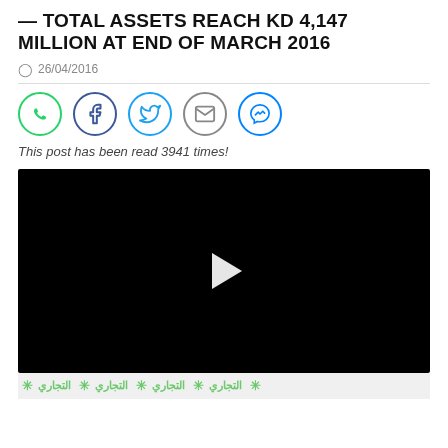— TOTAL ASSETS REACH KD 4,147 MILLION AT END OF MARCH 2016
26/04/2016
[Figure (infographic): Social share buttons: WhatsApp, Facebook, Twitter, Email, Messenger]
This post has been read 3941 times!
[Figure (screenshot): Black video player with white play button in center]
[Figure (logo): Arabic text watermark bar with green decorative stars repeating]